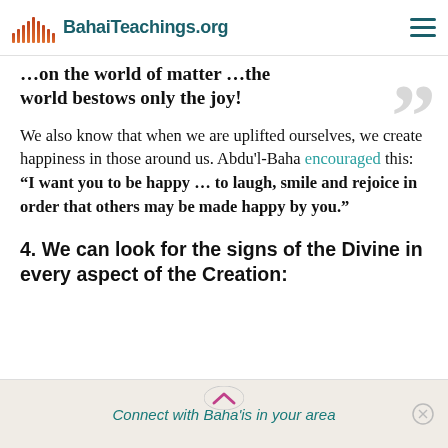BahaiTeachings.org
…on the world of matter …the world bestows only the joy!
We also know that when we are uplifted ourselves, we create happiness in those around us. Abdu'l-Baha encouraged this: "I want you to be happy … to laugh, smile and rejoice in order that others may be made happy by you."
4. We can look for the signs of the Divine in every aspect of the Creation:
Connect with Baha'is in your area